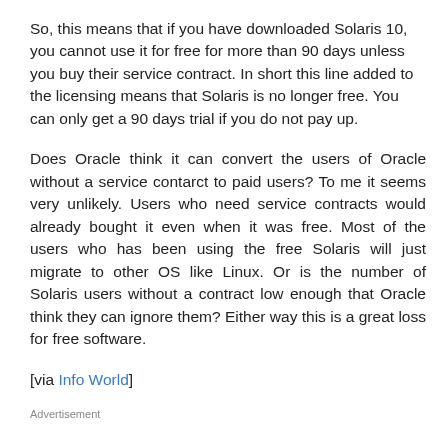So, this means that if you have downloaded Solaris 10, you cannot use it for free for more than 90 days unless you buy their service contract. In short this line added to the licensing means that Solaris is no longer free. You can only get a 90 days trial if you do not pay up.
Does Oracle think it can convert the users of Oracle without a service contarct to paid users? To me it seems very unlikely. Users who need service contracts would already bought it even when it was free. Most of the users who has been using the free Solaris will just migrate to other OS like Linux. Or is the number of Solaris users without a contract low enough that Oracle think they can ignore them? Either way this is a great loss for free software.
[via Info World]
Advertisement